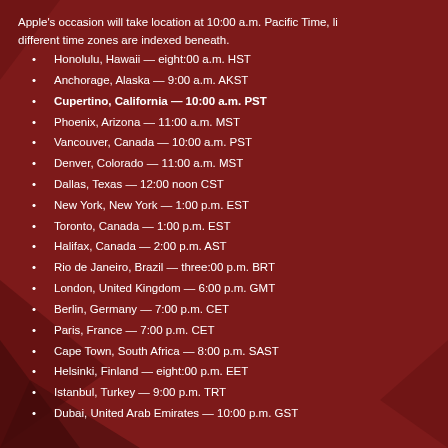Apple's occasion will take location at 10:00 a.m. Pacific Time, li... different time zones are indexed beneath.
Honolulu, Hawaii — eight:00 a.m. HST
Anchorage, Alaska — 9:00 a.m. AKST
Cupertino, California — 10:00 a.m. PST
Phoenix, Arizona — 11:00 a.m. MST
Vancouver, Canada — 10:00 a.m. PST
Denver, Colorado — 11:00 a.m. MST
Dallas, Texas — 12:00 noon CST
New York, New York — 1:00 p.m. EST
Toronto, Canada — 1:00 p.m. EST
Halifax, Canada — 2:00 p.m. AST
Rio de Janeiro, Brazil — three:00 p.m. BRT
London, United Kingdom — 6:00 p.m. GMT
Berlin, Germany — 7:00 p.m. CET
Paris, France — 7:00 p.m. CET
Cape Town, South Africa — 8:00 p.m. SAST
Helsinki, Finland — eight:00 p.m. EET
Istanbul, Turkey — 9:00 p.m. TRT
Dubai, United Arab Emirates — 10:00 p.m. GST